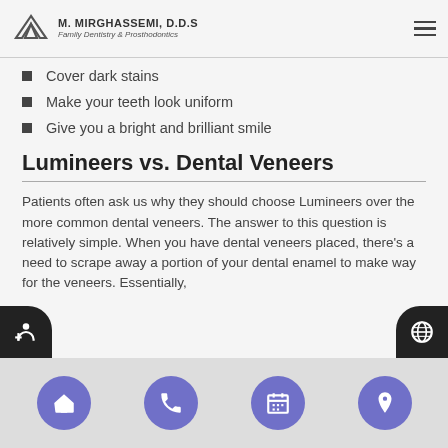M. MIRGHASSEMI, D.D.S — Family Dentistry & Prosthodontics
Cover dark stains
Make your teeth look uniform
Give you a bright and brilliant smile
Lumineers vs. Dental Veneers
Patients often ask us why they should choose Lumineers over the more common dental veneers. The answer to this question is relatively simple. When you have dental veneers placed, there's a need to scrape away a portion of your dental enamel to make way for the veneers. Essentially,